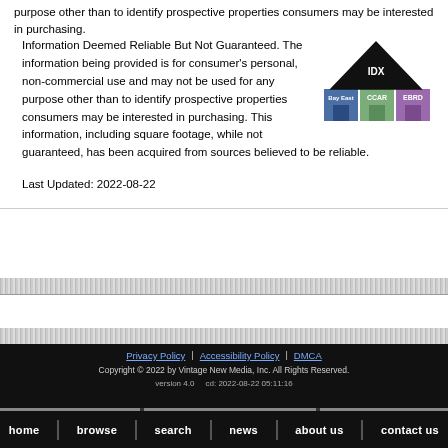purpose other than to identify prospective properties consumers may be interested in purchasing.
[Figure (logo): IDX logo with Bay East, CCAR, and EBRD logos]
Information Deemed Reliable But Not Guaranteed. The information being provided is for consumer's personal, non-commercial use and may not be used for any purpose other than to identify prospective properties consumers may be interested in purchasing. This information, including square footage, while not guaranteed, has been acquired from sources believed to be reliable.
Last Updated: 2022-08-22
Privacy Policy  Accessibility Policy  DMCA
Copyright © 2022 by Vintage New Media, Inc. All Rights Reserved.
version 4.0  cd: 2022-08-22 05:11:16
home  browse  search  news  about us  contact us